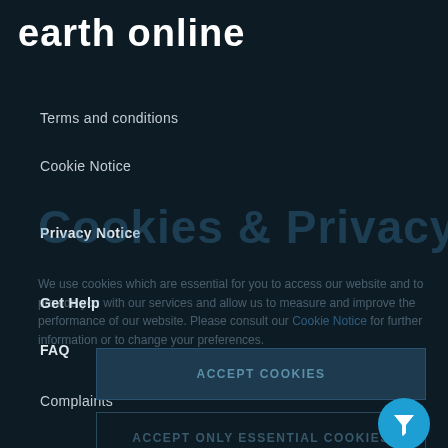earth online
Terms and conditions
Cookie Notice
[Figure (screenshot): Cookies & Privacy overlay watermark text in dark teal]
Privacy Notice
We use cookies which are essential for you to access our website and to provide you with our services and allow us to measure and improve the performance of our website. Please consult our Cookie Notice for further information or to change your preferences.
Get Help
FAQ
Complaints
ACCEPT COOKIES
Contact Us
ACCEPT ONLY ESSENTIAL COOKIES
Leave feedback